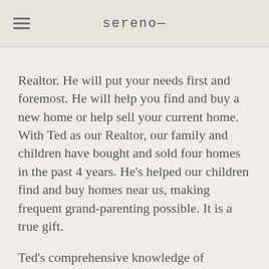sereno—
Realtor. He will put your needs first and foremost. He will help you find and buy a new home or help sell your current home. With Ted as our Realtor, our family and children have bought and sold four homes in the past 4 years. He's helped our children find and buy homes near us, making frequent grand-parenting possible. It is a true gift.
Ted's comprehensive knowledge of building practices lets him quickly spot flaws in possible property transfers. With his experience as a Licensed General